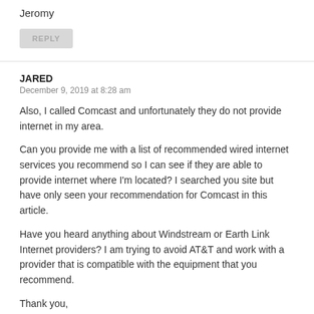Jeromy
REPLY
JARED
December 9, 2019 at 8:28 am
Also, I called Comcast and unfortunately they do not provide internet in my area.
Can you provide me with a list of recommended wired internet services you recommend so I can see if they are able to provide internet where I'm located? I searched you site but have only seen your recommendation for Comcast in this article.
Have you heard anything about Windstream or Earth Link Internet providers? I am trying to avoid AT&T and work with a provider that is compatible with the equipment that you recommend.
Thank you,